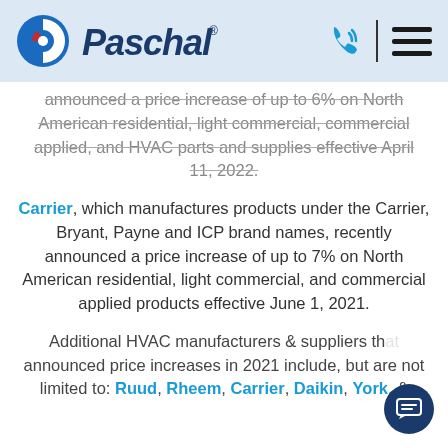Paschal (logo with phone and menu icons)
announced a price increase of up to 6% on North American residential, light commercial, commercial applied, and HVAC parts and supplies effective April 11, 2022.
Carrier, which manufactures products under the Carrier, Bryant, Payne and ICP brand names, recently announced a price increase of up to 7% on North American residential, light commercial, and commercial applied products effective June 1, 2021.
Additional HVAC manufacturers & suppliers that announced price increases in 2021 include, but are not limited to: Ruud, Rheem, Carrier, Daikin, York, &